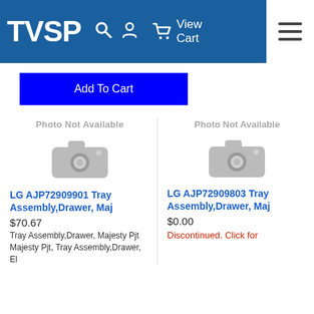TVSP — View Cart navigation header with search, account, cart and menu icons
Add To Cart
[Figure (photo): Photo Not Available placeholder with camera icon for LG AJP72909901]
LG AJP72909901 Tray Assembly,Drawer, Maj
$70.67
Tray Assembly,Drawer, Majesty Pjt Majesty Pjt, Tray Assembly,Drawer, El
[Figure (photo): Photo Not Available placeholder with camera icon for LG AJP72909803]
LG AJP72909803 Tray Assembly,Drawer, Maj
$0.00
Discontinued. Click for